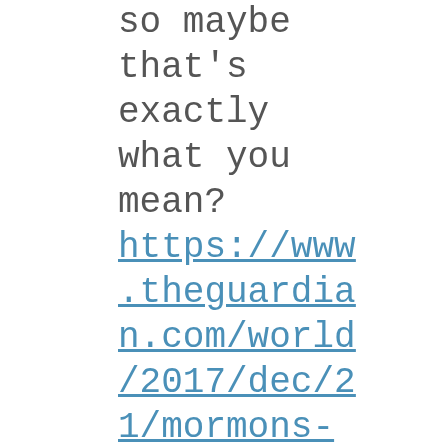so maybe that's exactly what you mean? https://www.theguardian.com/world/2017/dec/21/mormons-holocaust-victims-baptism-lds-church